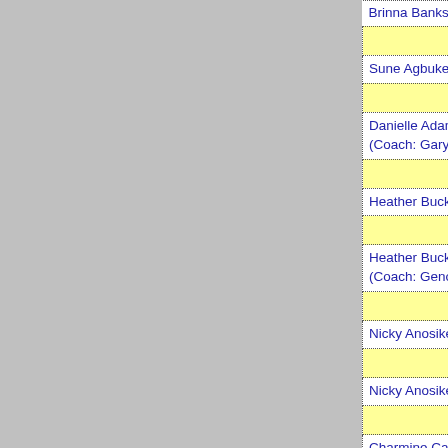| Edition | Year | Champion |
| --- | --- | --- |
| (partial top row - clipped) |  |  |
| XXXI | 2012 | Baylor |
| Sune Agbuke, Terran Condrey, Ashley Field, Brittr Palmer, Brooklyn Pope, Makenzie Robertson, Ody... |  |  |
| XXX | 2011 | Texas A & M |
| Danielle Adams, Kelsey Assarian, Maryann Baker, Adaora Elonu, Karla Gilbert, Kristen Grant, Adrier Windham. (Coach: Gary Blair) |  |  |
| XXIX | 2010 | Connecticut |
| Heather Buck, Tina Charles, Lorin Dixon, Caroline Gardler, Kalana Greene, Tiffany Hayes, Kaili McL... |  |  |
| XXVIII | 2009 | Connecticut |
| Heather Buck, Tina Charles, Lorin Dixon, Caroline Greene, Tiffany Hayes, Cassie Kerns, Kaili McLar Williams. (Coach: Geno Auriemma) |  |  |
| XXVII | 2008 | Tennessee |
| Nicky Anosike, Alberta Auguste, Vicki Baugh, Ang Fuller, Alexis Hornbuckle, Cait McMahan, Candac... |  |  |
| XXVI | 2007 | Tennessee |
| Nicky Anosike, Alberta Auguste, Shannon Bobbitt, McMahan, Nicci Moats, Candace Parker, Dominiq... |  |  |
| XXV | 2006 | Maryland |
| Charmine Carr, Marissa Coleman, Shay Doron, Ka... |  |  |